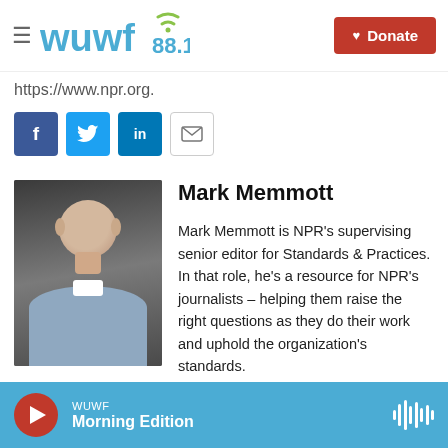WUWF 88.1 | Donate
https://www.npr.org.
[Figure (other): Social share buttons: Facebook, Twitter, LinkedIn, Email]
[Figure (photo): Headshot photo of Mark Memmott]
Mark Memmott
Mark Memmott is NPR's supervising senior editor for Standards & Practices. In that role, he's a resource for NPR's journalists – helping them raise the right questions as they do their work and uphold the organization's standards.
See stories by Mark Memmott
WUWF Morning Edition